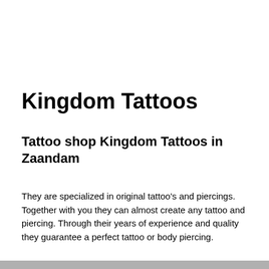Kingdom Tattoos
Tattoo shop Kingdom Tattoos in Zaandam
They are specialized in original tattoo's and piercings. Together with you they can almost create any tattoo and piercing. Through their years of experience and quality they guarantee a perfect tattoo or body piercing.